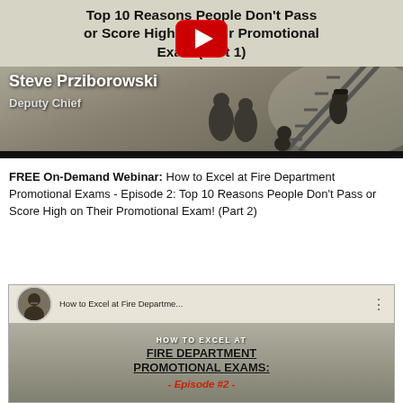[Figure (screenshot): YouTube video thumbnail: 'Top 10 Reasons People Don't Pass or Score High on Their Promotional Exam (Part 1)' with YouTube play button overlay, firefighter silhouettes in background, Steve Prziborowski Deputy Chief text overlay]
FREE On-Demand Webinar: How to Excel at Fire Department Promotional Exams - Episode 2: Top 10 Reasons People Don't Pass or Score High on Their Promotional Exam! (Part 2)
[Figure (screenshot): YouTube video thumbnail preview: 'How to Excel at Fire Departme...' showing HOW TO EXCEL AT FIRE DEPARTMENT PROMOTIONAL EXAMS: - Episode #2 - with avatar/channel header]